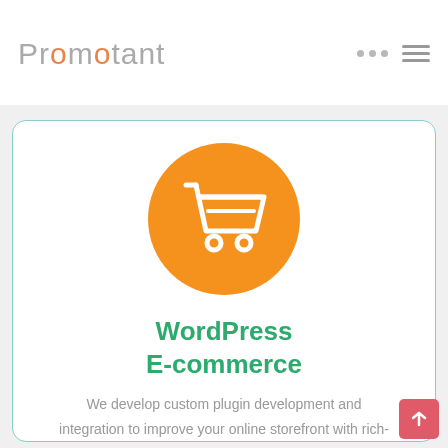Promotant
[Figure (illustration): Orange circle with white shopping cart icon]
WordPress E-commerce
We develop custom plugin development and integration to improve your online storefront with rich-features that will increase the user-experience.